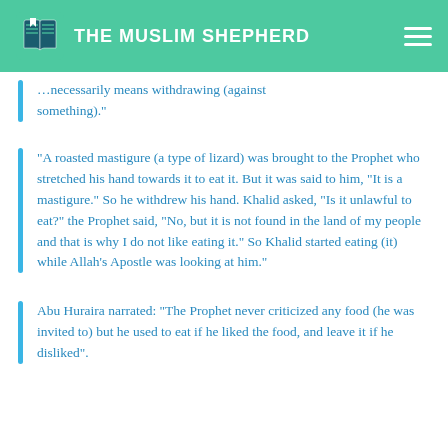THE MUSLIM SHEPHERD
...necessarily means withdrawing (against something)."
“A roasted mastigure (a type of lizard) was brought to the Prophet who stretched his hand towards it to eat it. But it was said to him, “It is a mastigure.” So he withdrew his hand. Khalid asked, “Is it unlawful to eat?” the Prophet said, “No, but it is not found in the land of my people and that is why I do not like eating it.” So Khalid started eating (it) while Allah’s Apostle was looking at him.”
Abu Huraira narrated: “The Prophet never criticized any food (he was invited to) but he used to eat if he liked the food, and leave it if he disliked”.